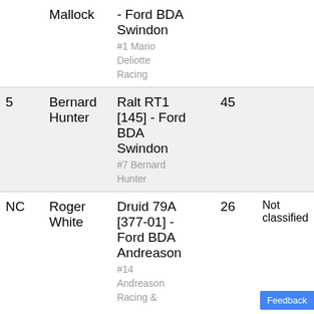| Pos | Driver | Car | Laps | Status |
| --- | --- | --- | --- | --- |
|  | Mallock | - Ford BDA Swindon
#1 Mario
Deliotte
Racing |  |  |
| 5 | Bernard Hunter | Ralt RT1 [145] - Ford BDA Swindon
#7 Bernard Hunter | 45 |  |
| NC | Roger White | Druid 79A [377-01] - Ford BDA Andreason
#14 Andreason Racing & | 26 | Not classified |